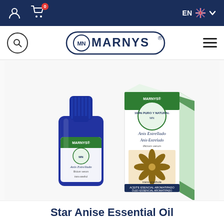Navigation bar with user icon, cart (0), language selector EN
[Figure (logo): MARNYS logo with MN monogram in oval border, search icon left, hamburger menu right]
[Figure (photo): Marnys Star Anise Essential Oil product photo: blue glass bottle with label 'Anis Estrellado' and matching green product box with star anise imagery]
Star Anise Essential Oil